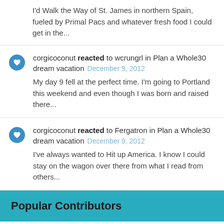I'd Walk the Way of St. James in northern Spain, fueled by Primal Pacs and whatever fresh food I could get in the...
corgicoconut reacted to wcrungrl in Plan a Whole30 dream vacation  December 9, 2012
My day 9 fell at the perfect time. I'm going to Portland this weekend and even though I was born and raised there...
corgicoconut reacted to Fergatron in Plan a Whole30 dream vacation  December 9, 2012
I've always wanted to Hit up America. I know I could stay on the wagon over there from what I read from others...
Popular Contributors
Week
Rebecca001